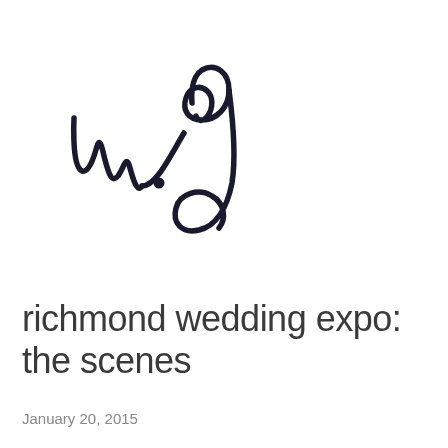[Figure (logo): Handwritten cursive signature/logo reading 'w.g.' in black ink on white background]
richmond wedding expo: the scenes
January 20, 2015